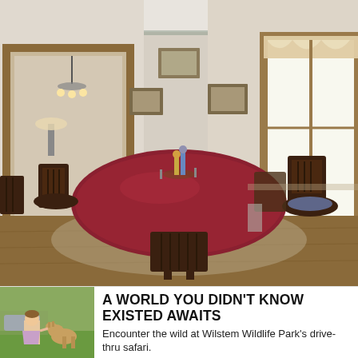[Figure (photo): Interior photo of a historic dining room with a round table covered by a red tablecloth, dark wooden chairs, framed pictures on cream-colored walls, a doorway to an adjacent room with a chandelier, and a bright window with lace curtains on the right. Decorative figurines are centered on the table.]
[Figure (photo): Small photo of a young girl in a dress feeding or petting a baby deer/fawn outdoors on grass.]
A WORLD YOU DIDN'T KNOW EXISTED AWAITS
Encounter the wild at Wilstem Wildlife Park's drive-thru safari.